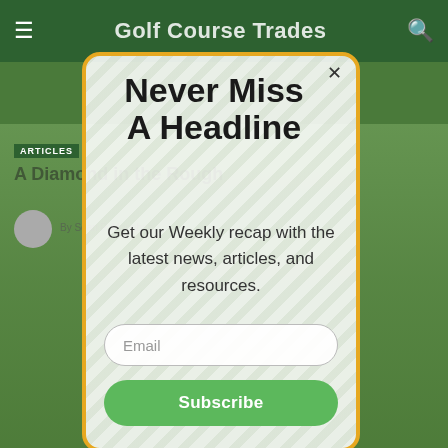Golf Course Trades
[Figure (screenshot): Golf Course Trades website background showing green nav bar, ARTICLES tag, article headline 'A Diamond in the Rough', author avatar, and golf course green background image]
Never Miss A Headline
Get our Weekly recap with the latest news, articles, and resources.
Email
Subscribe